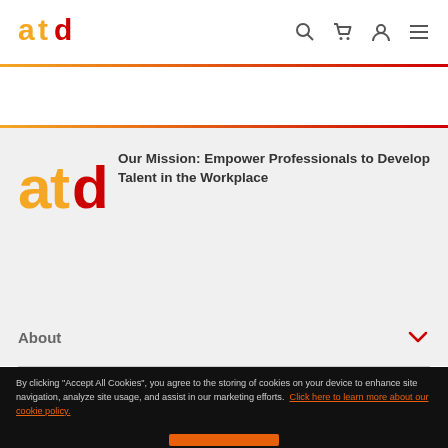atd
[Figure (logo): ATD logo with orange 'a', orange 't', red 'd' letters in main content area]
Our Mission: Empower Professionals to Develop Talent in the Workplace
About
By clicking “Accept All Cookies”, you agree to the storing of cookies on your device to enhance site navigation, analyze site usage, and assist in our marketing efforts. Click here to learn more about our cookie policy.